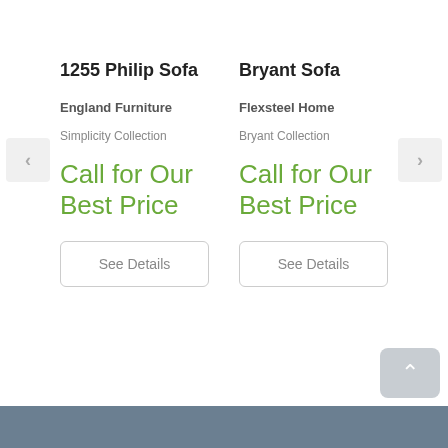1255 Philip Sofa
England Furniture
Simplicity Collection
Call for Our Best Price
See Details
Bryant Sofa
Flexsteel Home
Bryant Collection
Call for Our Best Price
See Details